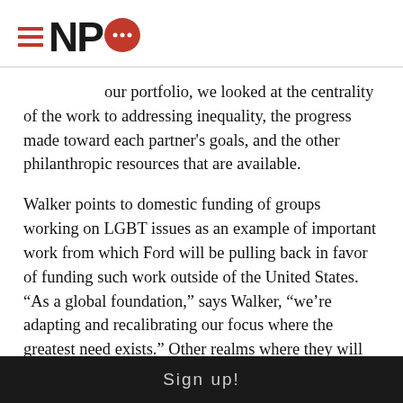NPQ logo with hamburger menu
our portfolio, we looked at the centrality of the work to addressing inequality, the progress made toward each partner’s goals, and the other philanthropic resources that are available.
Walker points to domestic funding of groups working on LGBT issues as an example of important work from which Ford will be pulling back in favor of funding such work outside of the United States. “As a global foundation,” says Walker, “we’re adapting and recalibrating our focus where the greatest need exists.” Other realms where they will not fund are conditional cash transfers in Latin America, microfinance, and, in the U.S., initiatives extending the school day, building arts spaces, and engaging religion in the public sphere. In all, they expect to reduce the
Sign up!